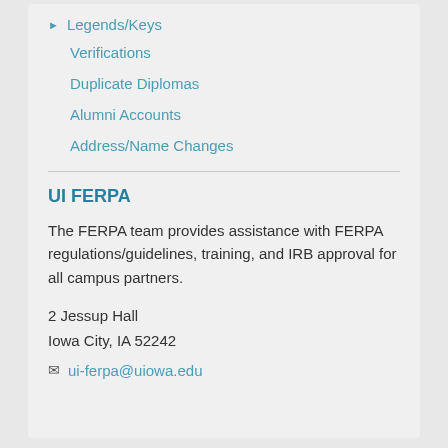▶ Legends/Keys
Verifications
Duplicate Diplomas
Alumni Accounts
Address/Name Changes
UI FERPA
The FERPA team provides assistance with FERPA regulations/guidelines, training, and IRB approval for all campus partners.
2 Jessup Hall
Iowa City, IA 52242
ui-ferpa@uiowa.edu